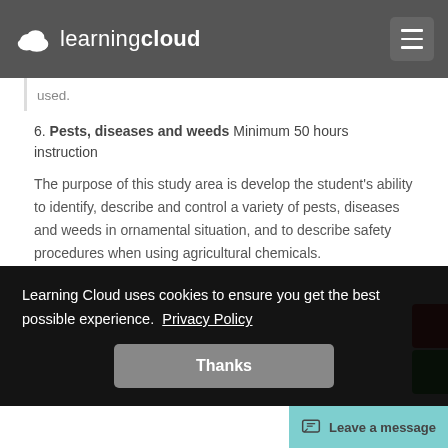Learning Cloud
used.
6. Pests, diseases and weeds Minimum 50 hours instruction
The purpose of this study area is develop the student's ability to identify, describe and control a variety of pests, diseases and weeds in ornamental situation, and to describe safety procedures when using agricultural chemicals.
Learning Cloud uses cookies to ensure you get the best possible experience. Privacy Policy
Thanks